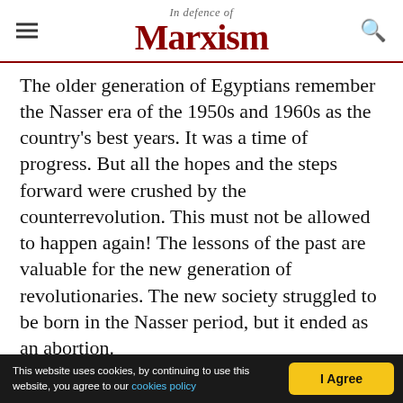In Defence of Marxism
The older generation of Egyptians remember the Nasser era of the 1950s and 1960s as the country's best years. It was a time of progress. But all the hopes and the steps forward were crushed by the counterrevolution. This must not be allowed to happen again! The lessons of the past are valuable for the new generation of revolutionaries. The new society struggled to be born in the Nasser period, but it ended as an abortion.
The failure of Nasserism was its failure to go beyond the limitations of bourgeois nationalism. This...
This website uses cookies, by continuing to use this website, you agree to our cookies policy | I Agree